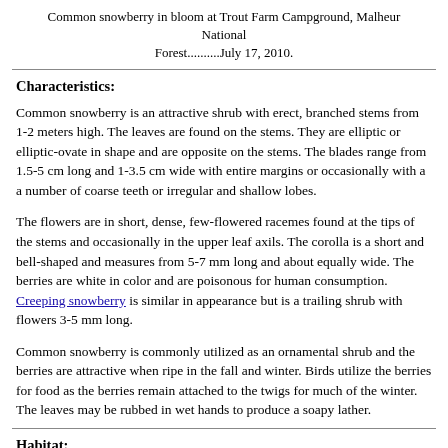Common snowberry in bloom at Trout Farm Campground, Malheur National Forest..........July 17, 2010.
Characteristics:
Common snowberry is an attractive shrub with erect, branched stems from 1-2 meters high. The leaves are found on the stems. They are elliptic or elliptic-ovate in shape and are opposite on the stems. The blades range from 1.5-5 cm long and 1-3.5 cm wide with entire margins or occasionally with a a number of coarse teeth or irregular and shallow lobes.
The flowers are in short, dense, few-flowered racemes found at the tips of the stems and occasionally in the upper leaf axils. The corolla is a short and bell-shaped and measures from 5-7 mm long and about equally wide. The berries are white in color and are poisonous for human consumption. Creeping snowberry is similar in appearance but is a trailing shrub with flowers 3-5 mm long.
Common snowberry is commonly utilized as an ornamental shrub and the berries are attractive when ripe in the fall and winter. Birds utilize the berries for food as the berries remain attached to the twigs for much of the winter. The leaves may be rubbed in wet hands to produce a soapy lather.
Habitat:
Common snowberry is a plant of open woods and slopes from low to medium elevation in the mountains.